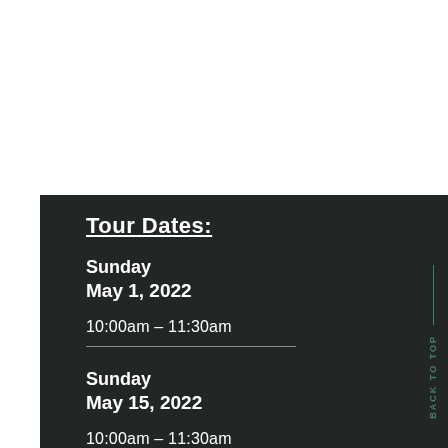Tour Dates:
Sunday
May 1, 2022
10:00am – 11:30am
Sunday
May 15, 2022
10:00am – 11:30am